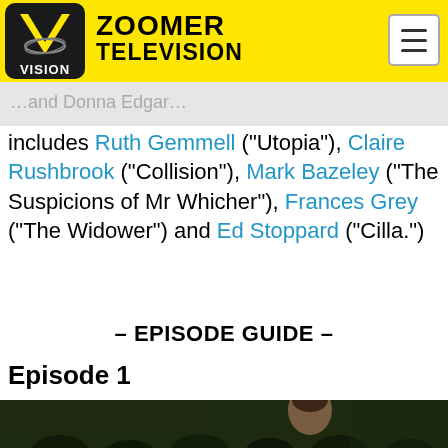ZOOMER TELEVISION
includes Ruth Gemmell (“Utopia”), Claire Rushbrook (“Collision”), Mark Bazeley (“The Suspicions of Mr Whicher”), Frances Grey (“The Widower”) and Ed Stoppard (“Cilla.”)
– EPISODE GUIDE –
Episode 1
[Figure (photo): Outdoor scene with crowd of people, a woman with curly hair visible in the foreground against dark foliage background]